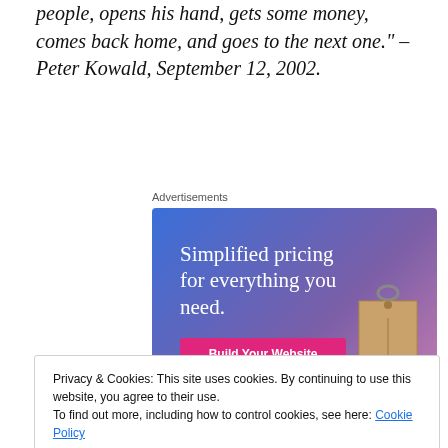people, opens his hand, gets some money, comes back home, and goes to the next one." – Peter Kowald, September 12, 2002.
Advertisements
[Figure (screenshot): Advertisement banner: 'Simplified pricing for everything you need.' with a 'Build Your Website' button and a price tag illustration, on a blue-purple gradient background.]
Privacy & Cookies: This site uses cookies. By continuing to use this website, you agree to their use.
To find out more, including how to control cookies, see here: Cookie Policy
for gas"–spent a full year at home in Wuppertal, Germany